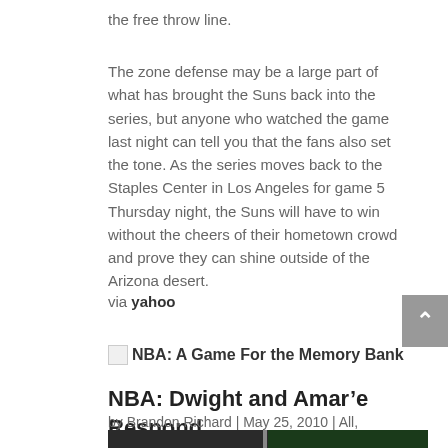the free throw line.
The zone defense may be a large part of what has brought the Suns back into the series, but anyone who watched the game last night can tell you that the fans also set the tone. As the series moves back to the Staples Center in Los Angeles for game 5 Thursday night, the Suns will have to win without the cheers of their hometown crowd and prove they can shine outside of the Arizona desert.
via yahoo
NBA: A Game For the Memory Bank
NBA: Dwight and Amar’e Respond
by Brandon Richard | May 25, 2010 | All, Basketball
[Figure (photo): Dark photograph of a basketball game scene, partially visible at bottom of page]